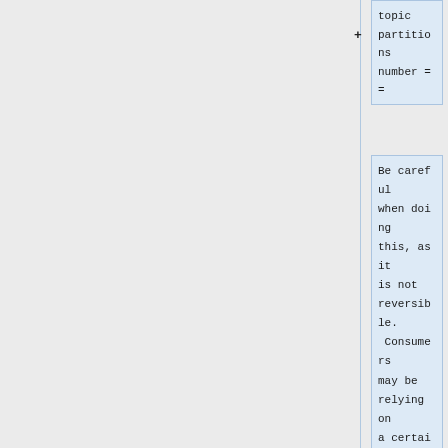topic
partitions
number ==
Be careful when doing this, as it is not reversible. Consumers may be relying on a certain number of partitions, so make sure you are aware of any downstream consequences for